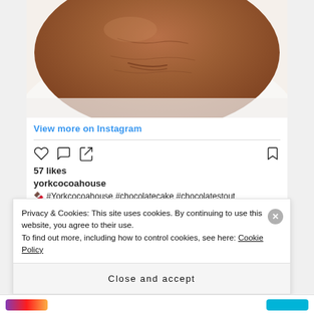[Figure (photo): Close-up photo of a chocolate frosted cake with smooth brown ganache, placed on a white plate]
View more on Instagram
57 likes
yorkcocoahouse
🍫 #Yorkcocoahouse #chocolatecake #chocolatestout
Privacy & Cookies: This site uses cookies. By continuing to use this website, you agree to their use.
To find out more, including how to control cookies, see here: Cookie Policy
Close and accept